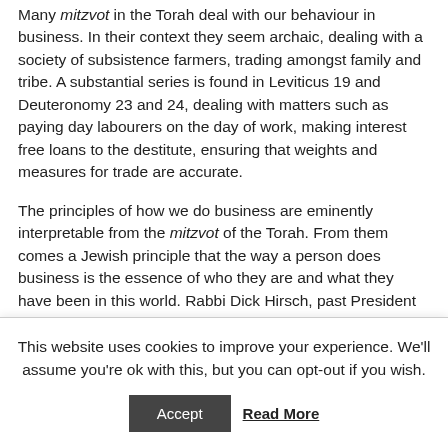Many mitzvot in the Torah deal with our behaviour in business. In their context they seem archaic, dealing with a society of subsistence farmers, trading amongst family and tribe. A substantial series is found in Leviticus 19 and Deuteronomy 23 and 24, dealing with matters such as paying day labourers on the day of work, making interest free loans to the destitute, ensuring that weights and measures for trade are accurate.
The principles of how we do business are eminently interpretable from the mitzvot of the Torah. From them comes a Jewish principle that the way a person does business is the essence of who they are and what they have been in this world. Rabbi Dick Hirsch, past President of the World Union for Progressive Judaism wrote that, our most
This website uses cookies to improve your experience. We'll assume you're ok with this, but you can opt-out if you wish.